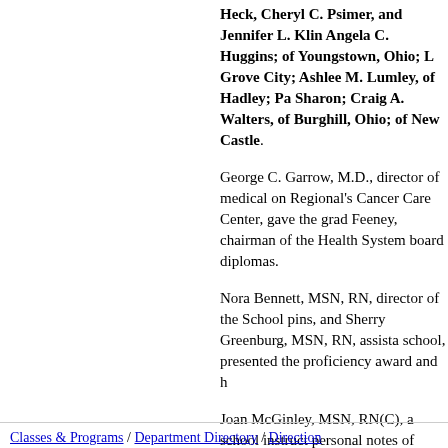Heck, Cheryl C. Psimer, and Jennifer L. Klin Angela C. Huggins; of Youngstown, Ohio; L Grove City; Ashlee M. Lumley, of Hadley; Pa Sharon; Craig A. Walters, of Burghill, Ohio; of New Castle.
George C. Garrow, M.D., director of medical on Regional's Cancer Care Center, gave the grad Feeney, chairman of the Health System board diplomas.
Nora Bennett, MSN, RN, director of the School pins, and Sherry Greenburg, MSN, RN, assista school, presented the proficiency award and h
Joan McGinley, MSN, RN(C), a school instruct personal notes of thanks. John Davidson, vice resources, was master of ceremonies.
Kellee Cardamon and Ron Gracilla provided m
Classes & Programs / Department Directory / Direction